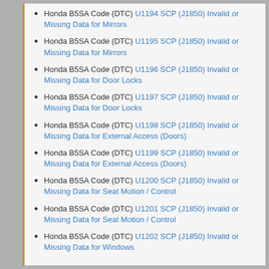Honda B5SA Code (DTC) U1194 SCP (J1850) Invalid or Missing Data for Mirrors
Honda B5SA Code (DTC) U1195 SCP (J1850) Invalid or Missing Data for Mirrors
Honda B5SA Code (DTC) U1196 SCP (J1850) Invalid or Missing Data for Door Locks
Honda B5SA Code (DTC) U1197 SCP (J1850) Invalid or Missing Data for Door Locks
Honda B5SA Code (DTC) U1198 SCP (J1850) Invalid or Missing Data for External Access (Doors)
Honda B5SA Code (DTC) U1199 SCP (J1850) Invalid or Missing Data for External Access (Doors)
Honda B5SA Code (DTC) U1200 SCP (J1850) Invalid or Missing Data for Seat Motion / Control
Honda B5SA Code (DTC) U1201 SCP (J1850) Invalid or Missing Data for Seat Motion / Control
Honda B5SA Code (DTC) U1202 SCP (J1850) Invalid or Missing Data for Windows